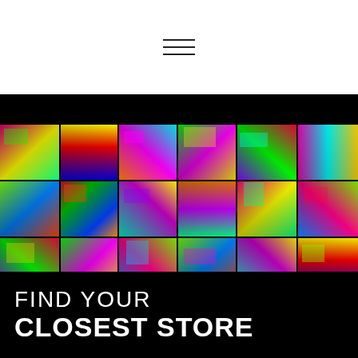[Figure (other): Hamburger menu icon with three horizontal lines centered in white header bar]
[Figure (photo): Colorful psychedelic collage of multiple photos of people with vivid neon color overlays arranged in a grid pattern across a full-width band]
FIND YOUR CLOSEST STORE